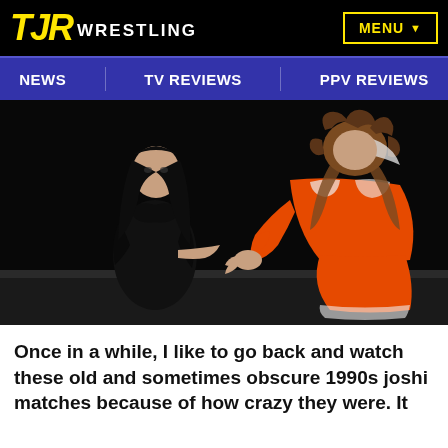TJR WRESTLING  MENU
NEWS   TV REVIEWS   PPV REVIEWS
[Figure (photo): Two female wrestlers in a wrestling ring. One wrestler wears an all-black outfit with long black hair, crouching on the left. The other wrestler on the right wears an orange and white costume with long curly brown hair, bending forward facing right. Dark background.]
Once in a while, I like to go back and watch these old and sometimes obscure 1990s joshi matches because of how crazy they were. It